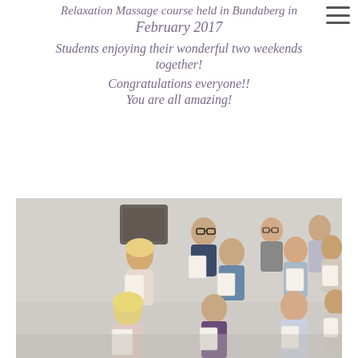Relaxation Massage course held in Bundaberg in February 2017
Students enjoying their wonderful two weekends together!
Congratulations everyone!!
You are all amazing!
[Figure (photo): Group photo of approximately 11 students holding certificates after completing a Relaxation Massage course in Bundaberg, February 2017. Students are arranged in two rows, smiling and displaying their certificates.]